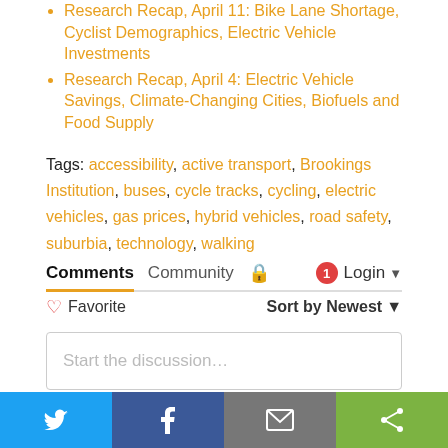Research Recap, April 11: Bike Lane Shortage, Cyclist Demographics, Electric Vehicle Investments
Research Recap, April 4: Electric Vehicle Savings, Climate-Changing Cities, Biofuels and Food Supply
Tags: accessibility, active transport, Brookings Institution, buses, cycle tracks, cycling, electric vehicles, gas prices, hybrid vehicles, road safety, suburbia, technology, walking
Comments  Community  🔒  1  Login
♡ Favorite  Sort by Newest
Start the discussion…
LOG IN WITH
[Figure (infographic): Social login icons: Disqus (blue), Facebook (dark blue), Twitter (light blue), Google (red)]
[Figure (infographic): Bottom share bar with Twitter, Facebook, Email, and Share buttons]